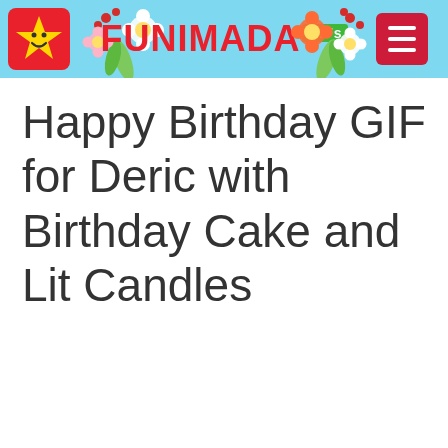FUNIMADA GIFs
Happy Birthday GIF for Deric with Birthday Cake and Lit Candles